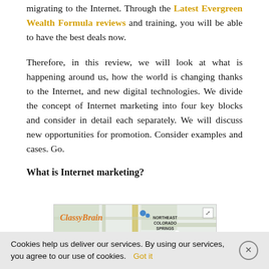migrating to the Internet. Through the Latest Evergreen Wealth Formula reviews and training, you will be able to have the best deals now.
Therefore, in this review, we will look at what is happening around us, how the world is changing thanks to the Internet, and new digital technologies. We divide the concept of Internet marketing into four key blocks and consider in detail each separately. We will discuss new opportunities for promotion. Consider examples and cases. Go.
What is Internet marketing?
[Figure (map): ClassyBrain map screenshot showing a Google Maps view with Northeast Colorado Springs area labeled, a red location pin, and a map expand icon in the top right corner.]
Cookies help us deliver our services. By using our services, you agree to our use of cookies.  Got it